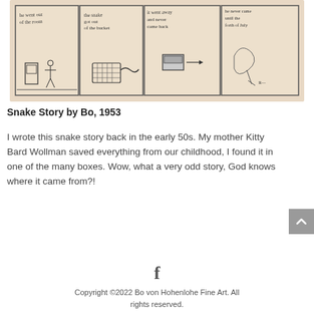[Figure (illustration): A child's hand-drawn comic strip from 1953 showing 4 panels with pencil drawings and handwritten text. Panel 1: 'he went out of the room'. Panel 2: 'the snake got out of the bucket'. Panel 3: 'it went away and never came back'. Panel 4: 'he never came until the forth of July'.]
Snake Story by Bo, 1953
I wrote this snake story back in the early 50s. My mother Kitty Bard Wollman saved everything from our childhood, I found it in one of the many boxes. Wow, what a very odd story, God knows where it came from?!
Copyright ©2022 Bo von Hohenlohe Fine Art. All rights reserved.